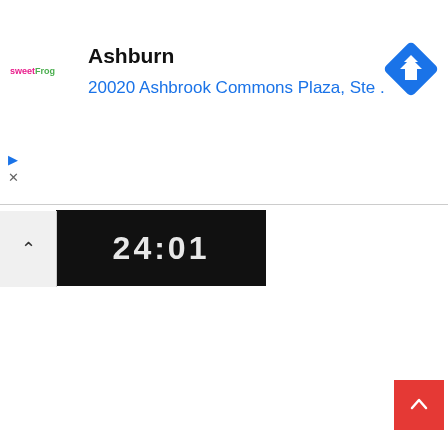[Figure (screenshot): sweetFrog frozen yogurt location card showing business name 'Ashburn', address '20020 Ashbrook Commons Plaza, Ste .', sweetFrog logo in pink and green, a blue Google Maps navigation diamond icon, play and close buttons, a partial photo strip showing illuminated text, a collapse chevron button, and a red scroll-to-top button.]
Ashburn
20020 Ashbrook Commons Plaza, Ste .